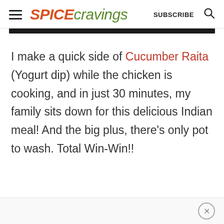SPICE cravings  SUBSCRIBE
[Figure (other): Black horizontal bar divider]
I make a quick side of Cucumber Raita (Yogurt dip) while the chicken is cooking, and in just 30 minutes, my family sits down for this delicious Indian meal! And the big plus, there's only pot to wash. Total Win-Win!!
× (close ad button)